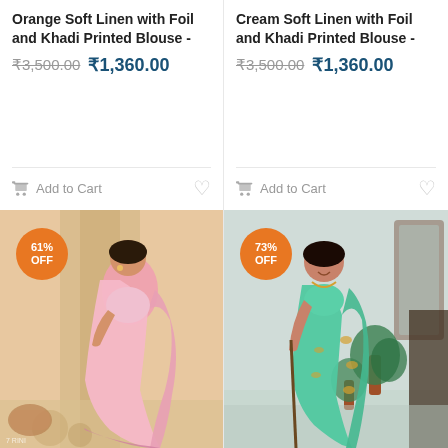Orange Soft Linen with Foil and Khadi Printed Blouse -
₹3,500.00  ₹1,360.00
Add to Cart
Cream Soft Linen with Foil and Khadi Printed Blouse -
₹3,500.00  ₹1,360.00
Add to Cart
[Figure (photo): Woman wearing pink saree, 61% OFF badge]
[Figure (photo): Woman wearing green/teal saree, 73% OFF badge]